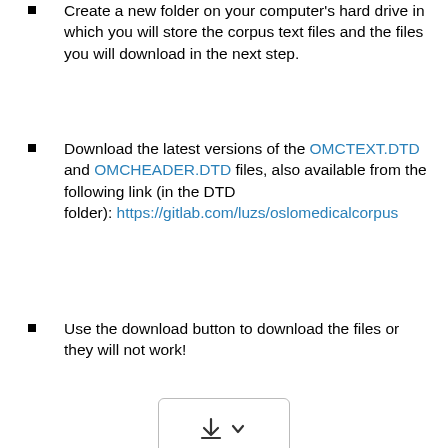Create a new folder on your computer's hard drive in which you will store the corpus text files and the files you will download in the next step.
Download the latest versions of the OMCTEXT.DTD and OMCHEADER.DTD files, also available from the following link (in the DTD folder): https://gitlab.com/luzs/oslomedicalcorpus
Use the download button to download the files or they will not work!
[Figure (screenshot): A download button with a downward arrow icon and a dropdown chevron, inside a rounded rectangle border.]